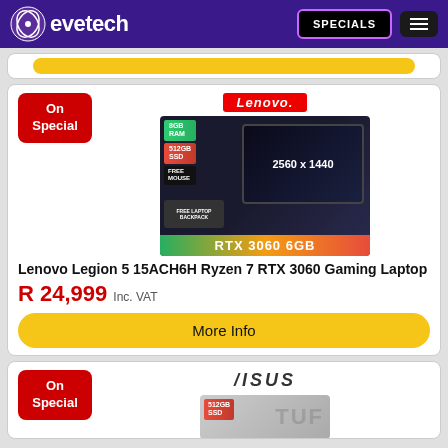evetech — SPECIALS
[Figure (screenshot): Partial product card at top with yellow More Info button]
[Figure (photo): Lenovo Legion 5 15ACH6H gaming laptop product image showing 8GB RAM, 512GB SSD, free mouse, 2560x1440 display, free laptop backpack, RTX 3060 6GB specs. Lenovo logo displayed. Marked On Special.]
Lenovo Legion 5 15ACH6H Ryzen 7 RTX 3060 Gaming Laptop
R 24,999 Inc. VAT
More Info
[Figure (screenshot): Bottom partial card showing ASUS TUF laptop with On Special badge, 512GB SSD badge, and partial product image]